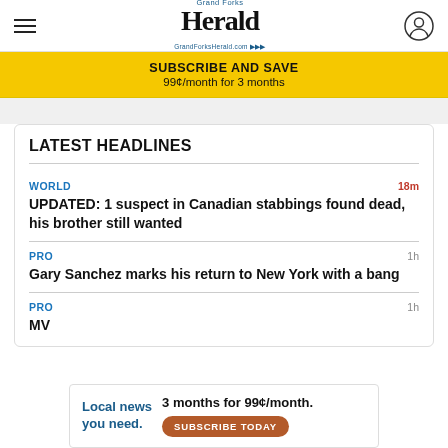Grand Forks Herald — GrandForksHerald.com
SUBSCRIBE AND SAVE
99¢/month for 3 months
LATEST HEADLINES
WORLD — 18m — UPDATED: 1 suspect in Canadian stabbings found dead, his brother still wanted
PRO — 1h — Gary Sanchez marks his return to New York with a bang
PRO — 1h — MV...
[Figure (infographic): Advertisement banner: 'Local news you need. 3 months for 99¢/month. SUBSCRIBE TODAY']